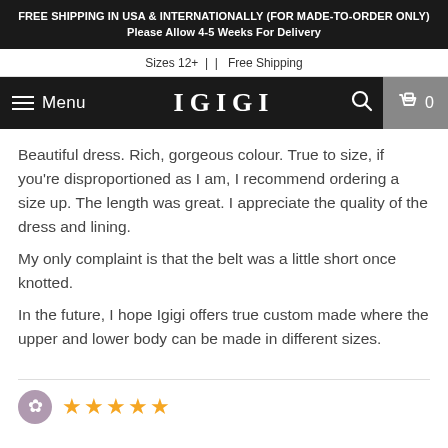FREE SHIPPING IN USA & INTERNATIONALLY (FOR MADE-TO-ORDER ONLY) Please Allow 4-5 Weeks For Delivery
Sizes 12+ |  |  Free Shipping
Menu  IGIGI  0
Beautiful dress. Rich, gorgeous colour. True to size, if you're disproportioned as I am, I recommend ordering a size up. The length was great. I appreciate the quality of the dress and lining.
My only complaint is that the belt was a little short once knotted.
In the future, I hope Igigi offers true custom made where the upper and lower body can be made in different sizes.
[Figure (other): Reviewer avatar and 4-5 star rating row at bottom of page]